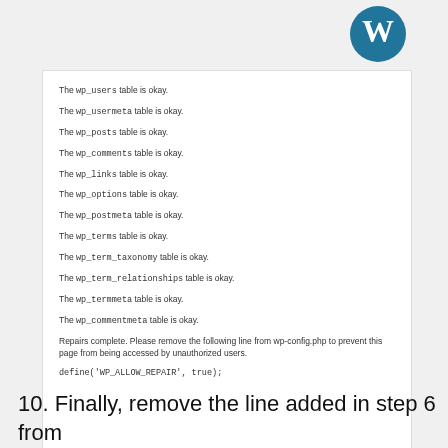[Figure (logo): WordPress logo - blue circular W icon]
The wp_users table is okay.
The wp_usermeta table is okay.
The wp_posts table is okay.
The wp_comments table is okay.
The wp_links table is okay.
The wp_options table is okay.
The wp_postmeta table is okay.
The wp_terms table is okay.
The wp_term_taxonomy table is okay.
The wp_term_relationships table is okay.
The wp_termmeta table is okay.
The wp_commentmeta table is okay.
Repairs complete. Please remove the following line from wp-config.php to prevent this page from being accessed by unauthorized users.
define('WP_ALLOW_REPAIR', true);
10. Finally, remove the line added in step 6 from